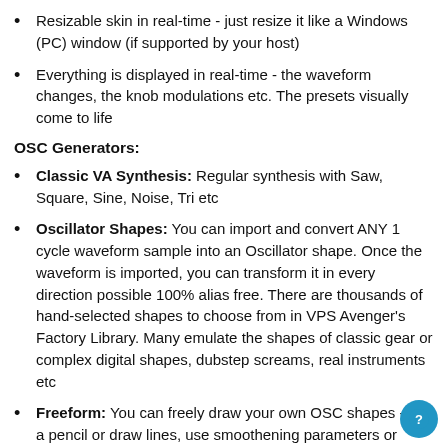Resizable skin in real-time - just resize it like a Windows (PC) window (if supported by your host)
Everything is displayed in real-time - the waveform changes, the knob modulations etc. The presets visually come to life
OSC Generators:
Classic VA Synthesis: Regular synthesis with Saw, Square, Sine, Noise, Tri etc
Oscillator Shapes: You can import and convert ANY 1 cycle waveform sample into an Oscillator shape. Once the waveform is imported, you can transform it in every direction possible 100% alias free. There are thousands of hand-selected shapes to choose from in VPS Avenger's Factory Library. Many emulate the shapes of classic gear or complex digital shapes, dubstep screams, real instruments etc
Freeform: You can freely draw your own OSC shapes - use a pencil or draw lines, use smoothening parameters or normalize, and fade in/outs to help create every shape imaginable
Wavetable Synthesis: Stack up to 128 Oscillator Shapes